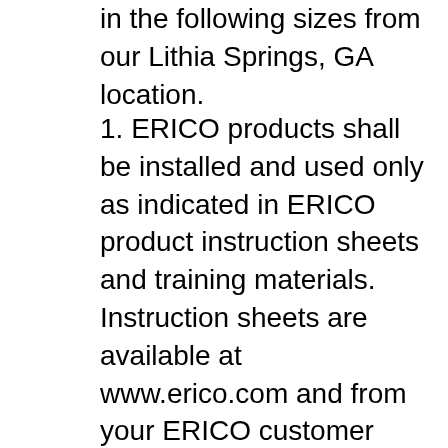in the following sizes from our Lithia Springs, GA location.
1. ERICO products shall be installed and used only as indicated in ERICO product instruction sheets and training materials. Instruction sheets are available at www.erico.com and from your ERICO customer service representative. 18 13.60 2.257 A The Nominal dimensions of deformed are equivalent to those of a plain round bar having the same weight per foot as the deformed bar. a Bar numbers are based on the number of eights of an inch included in the nominal diameter of the bar.